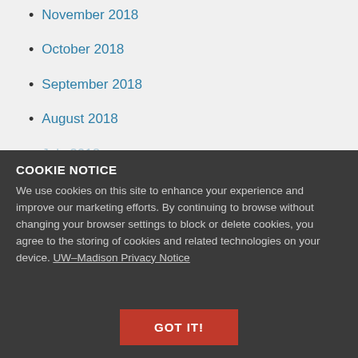November 2018
October 2018
September 2018
August 2018
July 2018
COOKIE NOTICE
We use cookies on this site to enhance your experience and improve our marketing efforts. By continuing to browse without changing your browser settings to block or delete cookies, you agree to the storing of cookies and related technologies on your device. UW–Madison Privacy Notice
February 2018
January 2018